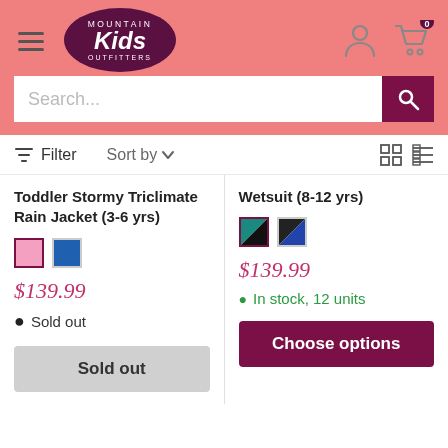[Figure (screenshot): Mountain Kids Outfitters e-commerce website header with pink background, logo, search bar, hamburger menu, user and cart icons]
Filter   Sort by   (grid/list toggle icons)
Toddler Stormy Triclimate Rain Jacket (3-6 yrs)
$139.99
Sold out
Sold out
Wetsuit (8-12 yrs)
$139.99
In stock, 12 units
Choose options